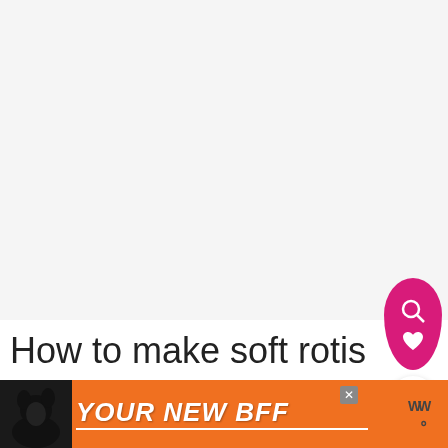[Figure (photo): Large light gray/white empty image area occupying the top portion of the page]
[Figure (infographic): Pink floating action button cluster with a magnifying glass icon and a heart icon inside a rounded pink shape, and a white circular share button below]
How to make soft rotis
[Figure (infographic): Orange advertisement banner at the bottom with a dark dog silhouette on the left, bold italic white text reading 'YOUR NEW BFF' with an underline, a close X button, and a WW logo icon on the right]